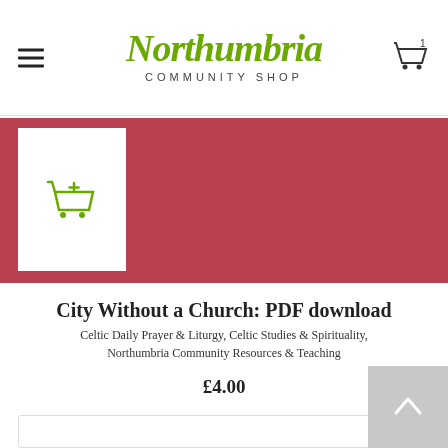Northumbria Community Shop
[Figure (screenshot): Product banner with red/crimson background, white product thumbnail placeholder on left with a green add-to-cart icon, and Northumbria Community script logo on right in white]
City Without a Church: PDF download
Celtic Daily Prayer & Liturgy, Celtic Studies & Spirituality, Northumbria Community Resources & Teaching
£4.00